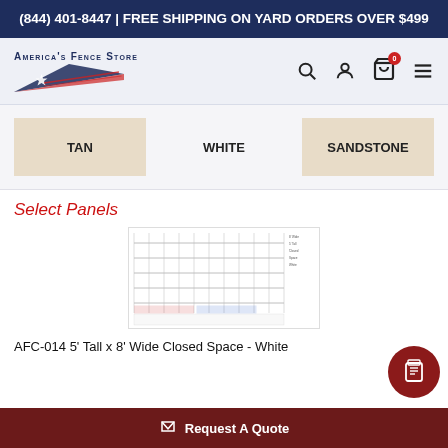(844) 401-8447 | FREE SHIPPING ON YARD ORDERS OVER $499
[Figure (logo): America's Fence Store logo with patriotic flag design]
[Figure (infographic): Color swatches: TAN, WHITE, SANDSTONE]
Select Panels
[Figure (screenshot): AFC-014 5' Tall x 8' Wide Closed Space - White fence panel technical drawing]
AFC-014 5' Tall x 8' Wide Closed Space - White